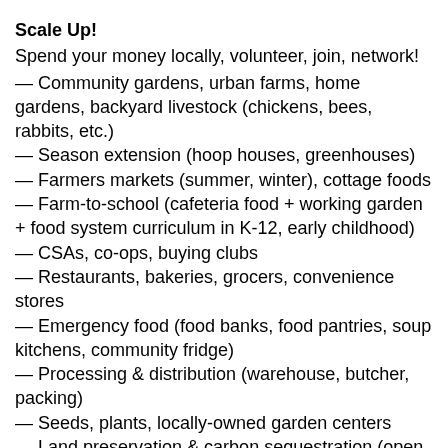Scale Up!
Spend your money locally, volunteer, join, network!
— Community gardens, urban farms, home gardens, backyard livestock (chickens, bees, rabbits, etc.)
— Season extension (hoop houses, greenhouses)— Farmers markets (summer, winter), cottage foods
— Farm-to-school (cafeteria food + working garden + food system curriculum in K-12, early childhood)
— CSAs, co-ops, buying clubs
— Restaurants, bakeries, grocers, convenience stores
— Emergency food (food banks, food pantries, soup kitchens, community fridge)
— Processing & distribution (warehouse, butcher, packing)
— Seeds, plants, locally-owned garden centers
— Land preservation & carbon sequestration (open space, wildlife habitat, pollinators, biodiversity)